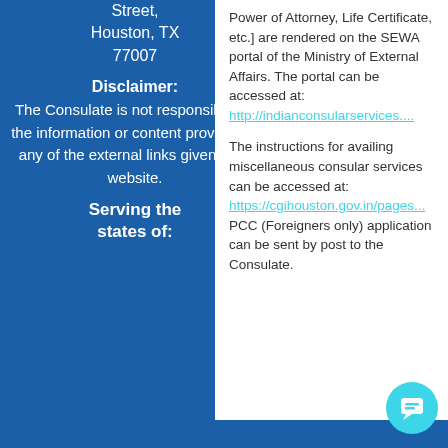Street, Houston, TX 77007
Disclaimer: The Consulate is not responsible for the information or content provided in any of the external links given in its website.
Serving the states of:
Power of Attorney, Life Certificate, etc.] are rendered on the SEWA portal of the Ministry of External Affairs. The portal can be accessed at: http://indianconsularservices....
The instructions for availing miscellaneous consular services can be accessed at: https://cgihouston.gov.in/pages... PCC (Foreigners only) application can be sent by post to the Consulate.